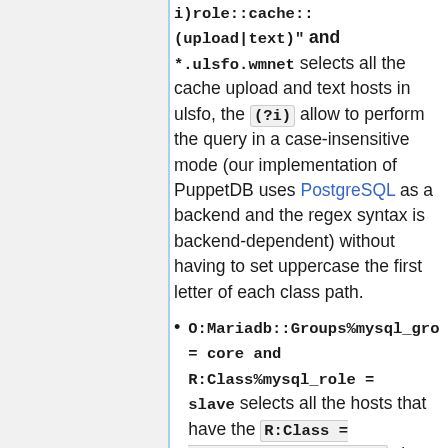i)role::cache::(upload|text)" and *.ulsfo.wmnet selects all the cache upload and text hosts in ulsfo, the (?i) allow to perform the query in a case-insensitive mode (our implementation of PuppetDB uses PostgreSQL as a backend and the regex syntax is backend-dependent) without having to set uppercase the first letter of each class path.
O:Mariadb::Groups%mysql_gro = core and R:Class%mysql_role = slave selects all the hosts that have the R:Class = Role::Mariadb::Groups class with the parameter